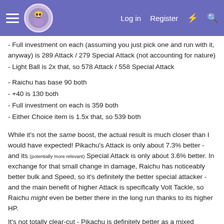Log in  Register
- Full investment on each (assuming you just pick one and run with it, anyway) is 289 Attack / 279 Special Attack (not accounting for nature)
- Light Ball is 2x that, so 578 Attack / 558 Special Attack
- Raichu has base 90 both
- +40 is 130 both
- Full investment on each is 359 both
- Either Choice item is 1.5x that, so 539 both
While it's not the same boost, the actual result is much closer than I would have expected! Pikachu's Attack is only about 7.3% better - and its (potentially more relevant) Special Attack is only about 3.6% better. In exchange for that small change in damage, Raichu has noticeably better bulk and Speed, so it's definitely the better special attacker - and the main benefit of higher Attack is specifically Volt Tackle, so Raichu might even be better there in the long run thanks to its higher HP.
It's not totally clear-cut - Pikachu is definitely better as a mixed